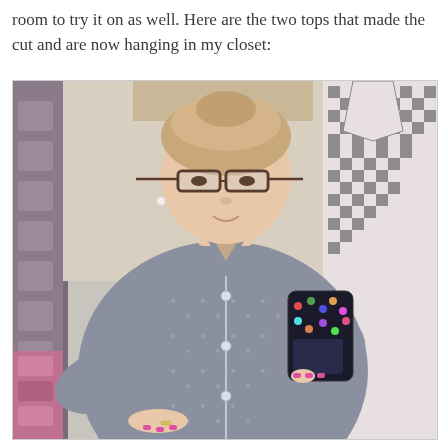room to try it on as well. Here are the two tops that made the cut and are now hanging in my closet:
[Figure (photo): A woman wearing glasses taking a mirror selfie in a fitting room, wearing a grey button-up shirt with small white dot pattern. In the background, a black and white checkered top is visible on a hanger to the right, and patterned fabric to the left.]